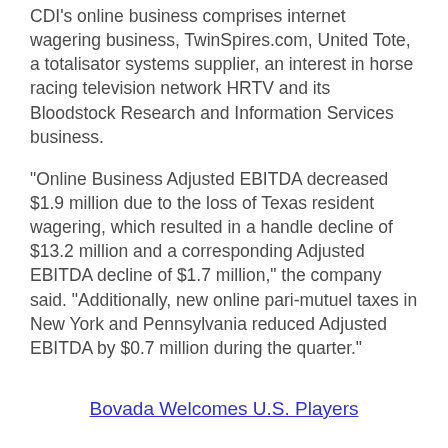CDI's online business comprises internet wagering business, TwinSpires.com, United Tote, a totalisator systems supplier, an interest in horse racing television network HRTV and its Bloodstock Research and Information Services business.
"Online Business Adjusted EBITDA decreased $1.9 million due to the loss of Texas resident wagering, which resulted in a handle decline of $13.2 million and a corresponding Adjusted EBITDA decline of $1.7 million," the company said. "Additionally, new online pari-mutuel taxes in New York and Pennsylvania reduced Adjusted EBITDA by $0.7 million during the quarter."
Bovada Welcomes U.S. Players